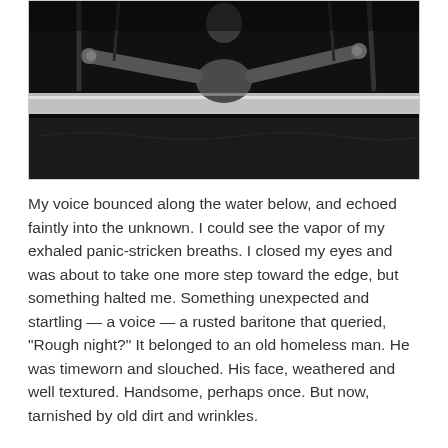[Figure (photo): Black and white photograph of a person leaning over or hanging from a railing or beam, with arms spread, in a dark dramatic scene near water.]
My voice bounced along the water below, and echoed faintly into the unknown. I could see the vapor of my exhaled panic-stricken breaths. I closed my eyes and was about to take one more step toward the edge, but something halted me. Something unexpected and startling — a voice — a rusted baritone that queried, “Rough night?” It belonged to an old homeless man. He was timeworn and slouched. His face, weathered and well textured. Handsome, perhaps once. But now, tarnished by old dirt and wrinkles.